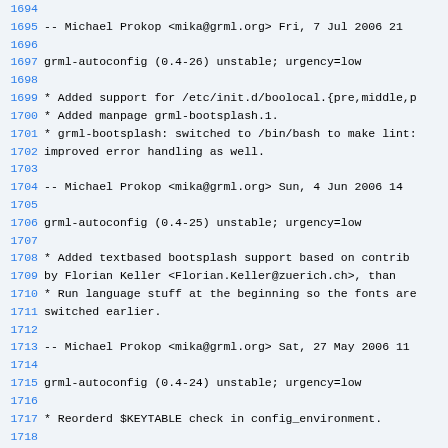1694
1695  -- Michael Prokop <mika@grml.org>  Fri,  7 Jul 2006 21
1696
1697 grml-autoconfig (0.4-26) unstable; urgency=low
1698
1699   * Added support for /etc/init.d/boolocal.{pre,middle,p
1700   * Added manpage grml-bootsplash.1.
1701   * grml-bootsplash: switched to /bin/bash to make lint:
1702     improved error handling as well.
1703
1704  -- Michael Prokop <mika@grml.org>  Sun,  4 Jun 2006 14
1705
1706 grml-autoconfig (0.4-25) unstable; urgency=low
1707
1708   * Added textbased bootsplash support based on contrib
1709     by Florian Keller <Florian.Keller@zuerich.ch>, than
1710   * Run language stuff at the beginning so the fonts are
1711     switched earlier.
1712
1713  -- Michael Prokop <mika@grml.org>  Sat, 27 May 2006 11
1714
1715 grml-autoconfig (0.4-24) unstable; urgency=low
1716
1717   * Reorderd $KEYTABLE check in config_environment.
1718
1719  -- Michael Prokop <mika@grml.org>  Sun, 14 May 2006 21
1720